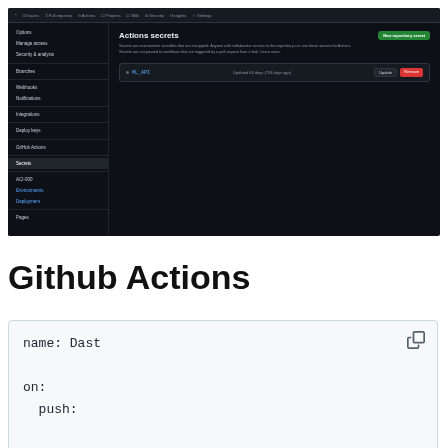[Figure (screenshot): GitHub Actions secrets settings page screenshot showing a dark-themed GitHub repository settings panel with sidebar navigation items (Options, Manage access, Security & analysis, Branches, Webhooks, Notifications, Integrations, Deploy keys, GitHub Actions, Actions, Secrets, ACI-000 Environment secrets, Deployment, Pages) and the Actions secrets content area showing a secret named ML_API with Update and Delete buttons, and a 'New repository secret' button.]
Github Actions
name: Dast

on:
  push:

jobs:
  dast: